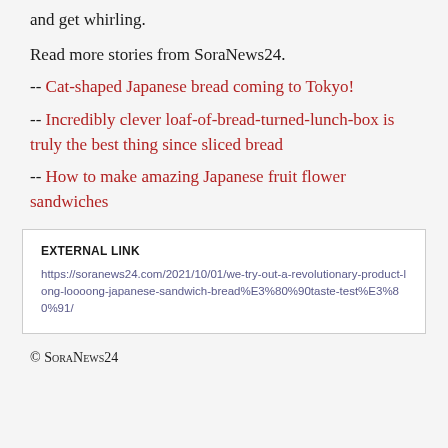and get whirling.
Read more stories from SoraNews24.
-- Cat-shaped Japanese bread coming to Tokyo!
-- Incredibly clever loaf-of-bread-turned-lunch-box is truly the best thing since sliced bread
-- How to make amazing Japanese fruit flower sandwiches
EXTERNAL LINK
https://soranews24.com/2021/10/01/we-try-out-a-revolutionary-product-long-loooong-japanese-sandwich-bread%E3%80%90taste-test%E3%80%91/
© SoraNews24